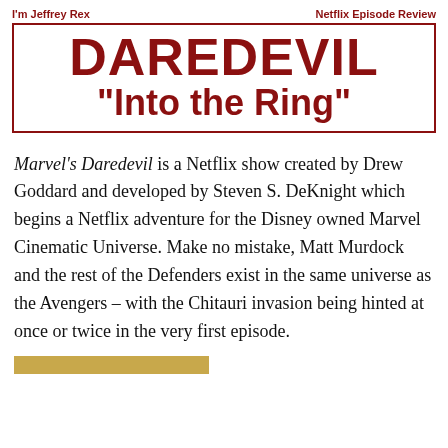I'm Jeffrey Rex | Netflix Episode Review
DAREDEVIL "Into the Ring"
Marvel's Daredevil is a Netflix show created by Drew Goddard and developed by Steven S. DeKnight which begins a Netflix adventure for the Disney owned Marvel Cinematic Universe. Make no mistake, Matt Murdock and the rest of the Defenders exist in the same universe as the Avengers – with the Chitauri invasion being hinted at once or twice in the very first episode.
[Figure (other): Gold/tan colored horizontal bar at bottom of page]